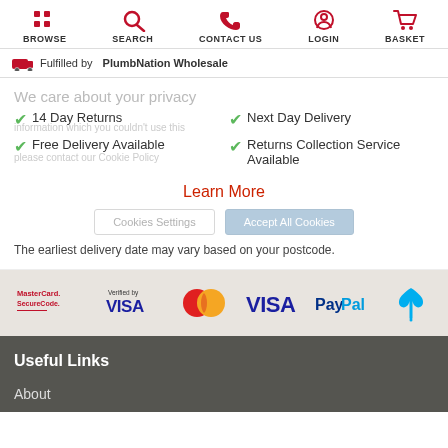BROWSE | SEARCH | CONTACT US | LOGIN | BASKET
Fulfilled by PlumbNation Wholesale
14 Day Returns
Free Delivery Available
Next Day Delivery
Returns Collection Service Available
Learn More
The earliest delivery date may vary based on your postcode.
[Figure (logo): Payment logos: MasterCard SecureCode, Verified by VISA, MasterCard, VISA, PayPal, Barclays]
Useful Links
About